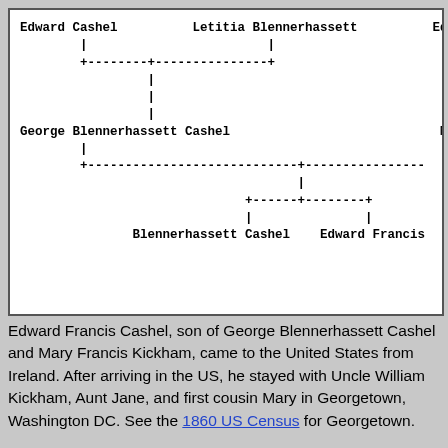[Figure (organizational-chart): Partial family tree showing: Edward Cashel and Letitia Blennerhassett connected by dashed lines to George Blennerhassett Cashel; George Blennerhassett Cashel and Mary connected by dashed lines to Blennerhassett Cashel and Edward Francis. Names on right edge are cut off.]
Edward Francis Cashel, son of George Blennerhassett Cashel and Mary Francis Kickham, came to the United States from Ireland. After arriving in the US, he stayed with Uncle William Kickham, Aunt Jane, and first cousin Mary in Georgetown, Washington DC. See the 1860 US Census for Georgetown.
After serving in the Union Army during the American Civil War, Edward Francis Cashel continued his service in the Armed Forces of the United States, and was stationed on Kodiak Island, Alaska.
Unaware of of what had become of his older brother, Blenn came to the United States to find him. As listed, he at to him in N...